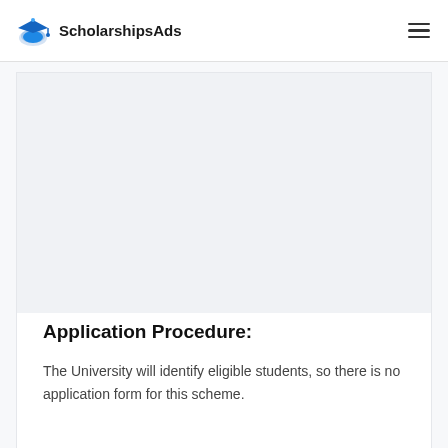ScholarshipsAds
[Figure (other): Advertisement or blank content area placeholder inside a card]
Application Procedure:
The University will identify eligible students, so there is no application form for this scheme.